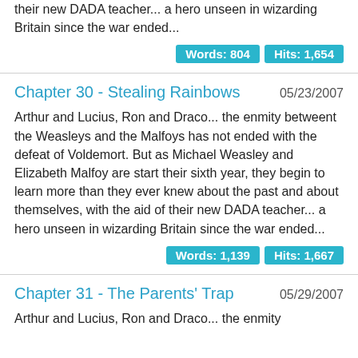their new DADA teacher... a hero unseen in wizarding Britain since the war ended...
Words: 804   Hits: 1,654
Chapter 30 - Stealing Rainbows   05/23/2007
Arthur and Lucius, Ron and Draco... the enmity betweent the Weasleys and the Malfoys has not ended with the defeat of Voldemort. But as Michael Weasley and Elizabeth Malfoy are start their sixth year, they begin to learn more than they ever knew about the past and about themselves, with the aid of their new DADA teacher... a hero unseen in wizarding Britain since the war ended...
Words: 1,139   Hits: 1,667
Chapter 31 - The Parents' Trap   05/29/2007
Arthur and Lucius, Ron and Draco... the enmity